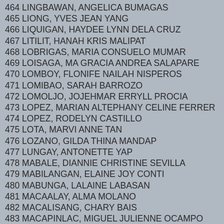464 LINGBAWAN, ANGELICA BUMAGAS
465 LIONG, YVES JEAN YANG
466 LIQUIGAN, HAYDEE LYNN DELA CRUZ
467 LITILIT, HANAH KRIS MALIPAT
468 LOBRIGAS, MARIA CONSUELO MUMAR
469 LOISAGA, MA GRACIA ANDREA SALAPARE
470 LOMBOY, FLONIFE NAILAH NISPEROS
471 LOMIBAO, SARAH BARROZO
472 LOMOLJO, JOJEHMAR ERRYLL PROCIA
473 LOPEZ, MARIAN ALTEPHANY CELINE FERRER
474 LOPEZ, RODELYN CASTILLO
475 LOTA, MARVI ANNE TAN
476 LOZANO, GILDA THINA MANDAP
477 LUNGAY, ANTONETTE YAP
478 MABALE, DIANNIE CHRISTINE SEVILLA
479 MABILANGAN, ELAINE JOY CONTI
480 MABUNGA, LALAINE LABASAN
481 MACAALAY, ALMA MOLANO
482 MACALISANG, CHARY BAIS
483 MACAPINLAC, MIGUEL JULIENNE OCAMPO
484 MACARAEG, CHARMIN BARLAAN
485 MACARILAY, JOHN HARRY VARGAS
486 MACHIGA, CARMEN LABUTAR